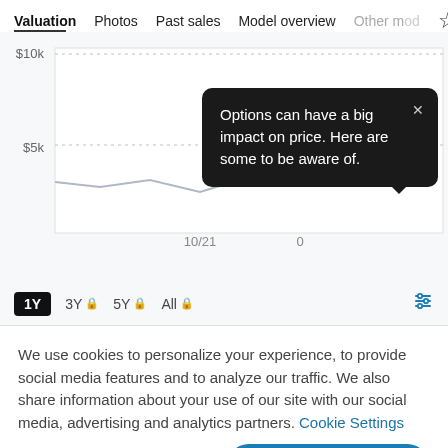Valuation  Photos  Past sales  Model overview  Other mo...
[Figure (continuous-plot): A line chart showing vehicle valuation over time with y-axis labels $10k and $5k, and x-axis label 10/21 visible. A dark tooltip popup overlays the upper-right portion of the chart reading: 'Options can have a big impact on price. Here are some to be aware of.' with an X close button.]
1Y  3Y 🔒  5Y 🔒  All 🔒
We use cookies to personalize your experience, to provide social media features and to analyze our traffic. We also share information about your use of our site with our social media, advertising and analytics partners. Cookie Settings
Accept all cookies